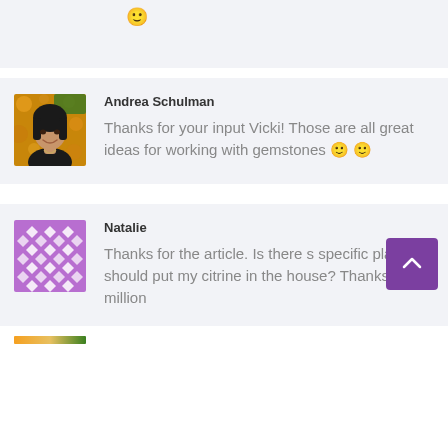[Figure (other): Partial comment block from previous entry showing a smiley emoji]
[Figure (photo): Avatar photo of Andrea Schulman - woman with dark hair smiling against golden background]
Andrea Schulman
Thanks for your input Vicki! Those are all great ideas for working with gemstones 🙂 🙂
[Figure (illustration): Purple geometric diamond/quilt pattern avatar for user Natalie]
Natalie
Thanks for the article. Is there s specific place I should put my citrine in the house? Thanks a million
[Figure (other): Purple scroll-to-top button with upward chevron arrow]